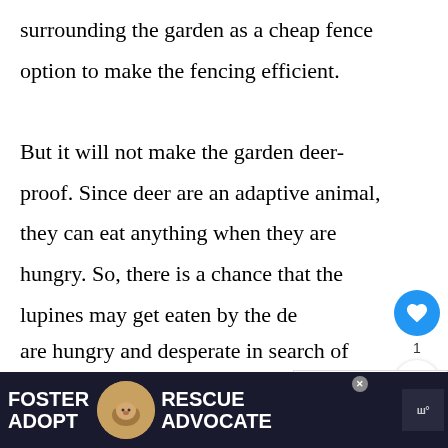surrounding the garden as a cheap fence option to make the fencing efficient.

But it will not make the garden deer-proof. Since deer are an adaptive animal, they can eat anything when they are hungry. So, there is a chance that the lupines may get eaten by the deer are hungry and desperate in search of fo
[Figure (other): Social interaction sidebar with heart/like button (blue circle with heart icon), count of 1, and share button (white circle with share icon)]
[Figure (other): What's Next widget showing a rabbit photo thumbnail with text 'Do Rabbits Eat Birdsee...']
[Figure (other): Advertisement banner: dark navy background with 'FOSTER ADOPT' text on left, dog photo in center circle, 'RESCUE ADVOCATE' text, close button, and logo on right]